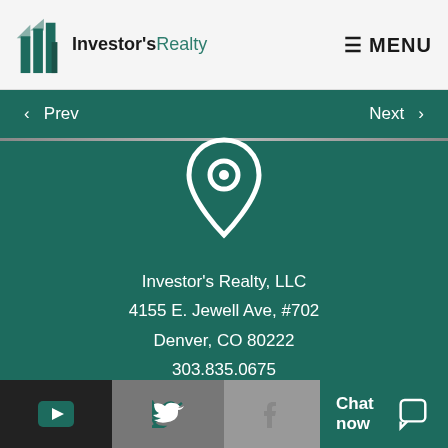Investor's Realty  MENU
‹ Prev    Next ›
[Figure (illustration): White map pin / location marker icon on teal background]
Investor's Realty, LLC
4155 E. Jewell Ave, #702
Denver, CO 80222
303.835.0675
YouTube icon  Twitter icon  Facebook icon  Chat now